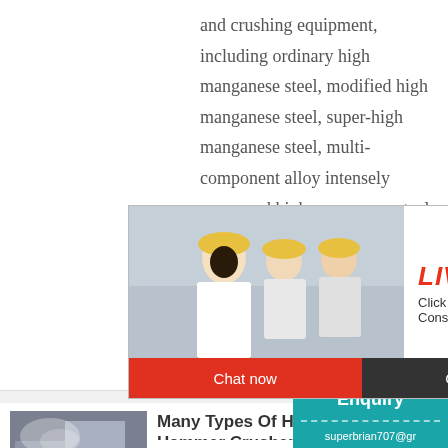and crushing equipment, including ordinary high manganese steel, modified high manganese steel, super-high manganese steel, multi-component alloy intensely processed high manganese steel and magnet
[Figure (screenshot): Live chat popup with workers in yellow hard hats, showing LIVE CHAT headline, Click for a Free Consultation subtitle, Chat now and Chat later buttons, and a teal sidebar showing 7 hours online with a smiley face customer service icon, Enquiry button, and email address.]
[Figure (photo): Industrial crusher machine photo]
Many Types Of Hammers For Hammer Crushers
Hammer crusher The a certain amount of h